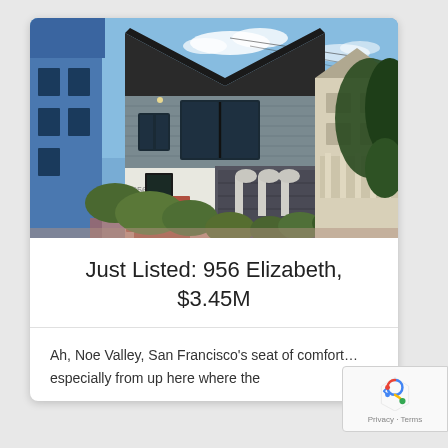[Figure (photo): Exterior photo of a gray Victorian-style house at 956 Elizabeth Street, Noe Valley, San Francisco. Red brick front steps, dark window frames, neighboring blue house on left, beige house on right, blue sky with light clouds.]
Just Listed: 956 Elizabeth, $3.45M
Ah, Noe Valley, San Francisco's seat of comfort...especially from up here where the